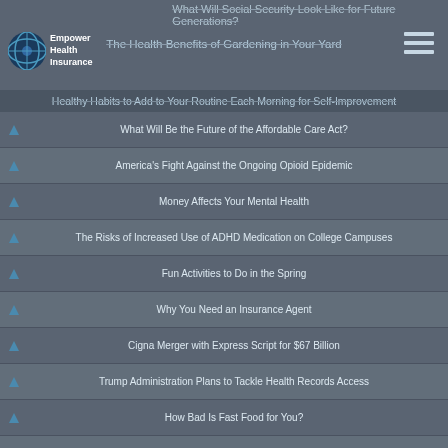What Will Social Security Look Like for Future Generations?
[Figure (logo): Empower Health Insurance logo - circular blue globe icon with company name]
The Health Benefits of Gardening in Your Yard
Healthy Habits to Add to Your Routine Each Morning for Self-Improvement
What Will Be the Future of the Affordable Care Act?
America's Fight Against the Ongoing Opioid Epidemic
Money Affects Your Mental Health
The Risks of Increased Use of ADHD Medication on College Campuses
Fun Activities to Do in the Spring
Why You Need an Insurance Agent
Cigna Merger with Express Script for $67 Billion
Trump Administration Plans to Tackle Health Records Access
How Bad Is Fast Food for You?
Lyft Competes with Uber for Concierge Healthcare Rides
Uber Health: Getting to Your Doctor Appointments Just Got Easier!
Addiction: Ways to Fight Back Against Your Unhealthy Habit
Know What to Do in Certain Emergency Situations
Mental Health in America: How Should We Handle It?
The Common Risk/Mistakes When Using Social Media
The Benefits of the Self-Expression through Dancing